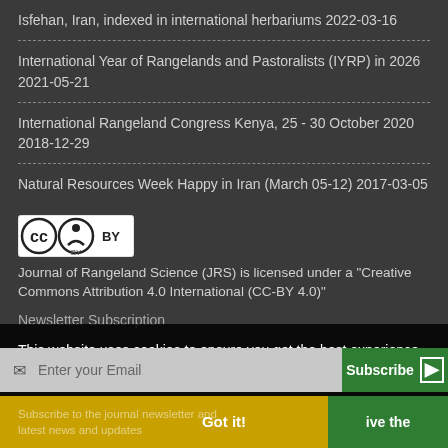Isfehan, Iran, indexed in international herbariums 2022-03-16
International Year of Rangelands and Pastoralists (IYRP) in 2026 2021-05-21
International Rangeland Congress Kenya, 25 - 30 October 2020 2018-12-29
Natural Resources Week Happy in Iran (March 05-12) 2017-03-05
[Figure (logo): Creative Commons BY license badge]
Journal of Rangeland Science (JRS) is licensed under a "Creative Commons Attribution 4.0 International (CC-BY 4.0)"
This website uses cookies to ensure you get the best experience on our website.
Newsletter Subscription
Subscribe to the journal newsletter and receive the latest news and updates
Got it!
Enter your Email
Subscribe